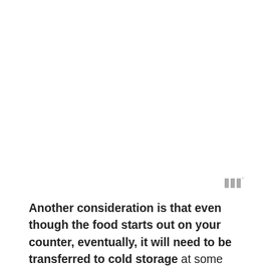[Figure (other): Watermark or logo mark: three vertical bars with a small superscript degree symbol, in gray]
Another consideration is that even though the food starts out on your counter, eventually, it will need to be transferred to cold storage at some point or it will keep fermenting and become extremely sour. Our ancestors used cold root cellars or larders to